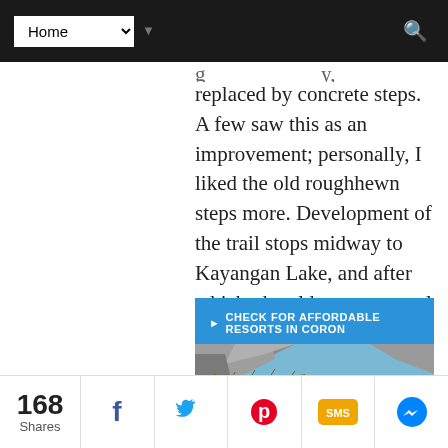Home (navigation dropdown)
replaced by concrete steps. A few saw this as an improvement; personally, I liked the old roughhewn steps more. Development of the trail stops midway to Kayangan Lake, and after which, the old, more natural stairway persists.
► CHECK FOR AFFORDABLE RESORTS IN CORON
[Figure (photo): Kayangan Lake surrounded by jagged limestone cliffs with lush green vegetation. A wooden dock/boardwalk is visible in the foreground, and swimmers can be seen in the clear blue-green water.]
168 Shares — Facebook, Twitter, Pinterest, SMS, Messenger share buttons